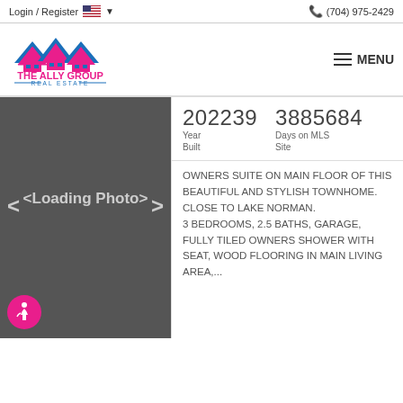Login / Register  (704) 975-2429
[Figure (logo): The Ally Group Real Estate logo with pink and blue house icons]
MENU
[Figure (photo): Loading Photo placeholder image with arrow navigation]
202239
Year Built
3885684
Days on MLS Site
OWNERS SUITE ON MAIN FLOOR OF THIS BEAUTIFUL AND STYLISH TOWNHOME. CLOSE TO LAKE NORMAN. 3 BEDROOMS, 2.5 BATHS, GARAGE, FULLY TILED OWNERS SHOWER WITH SEAT, WOOD FLOORING IN MAIN LIVING AREA,...